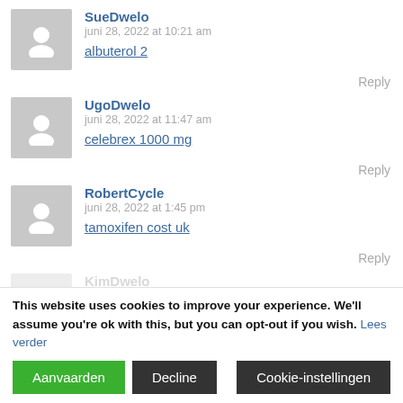SueDwelo
juni 28, 2022 at 10:21 am
albuterol 2
Reply
UgoDwelo
juni 28, 2022 at 11:47 am
celebrex 1000 mg
Reply
RobertCycle
juni 28, 2022 at 1:45 pm
tamoxifen cost uk
Reply
KimDwelo
juni 28, 2022 at 8:00 pm
This website uses cookies to improve your experience. We'll assume you're ok with this, but you can opt-out if you wish. Lees verder
Aanvaarden
Decline
Cookie-instellingen